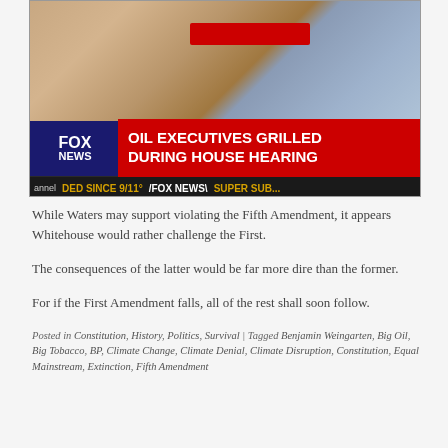[Figure (screenshot): Fox News TV screenshot showing two people (oil executives) at a hearing. Red banner reads 'OIL EXECUTIVES GRILLED DURING HOUSE HEARING'. Fox News logo visible bottom left. Lower ticker bar shows 'DED SINCE 9/11' / 'FOX NEWS' / 'SUPER SUB...']
While Waters may support violating the Fifth Amendment, it appears Whitehouse would rather challenge the First.
The consequences of the latter would be far more dire than the former.
For if the First Amendment falls, all of the rest shall soon follow.
Posted in Constitution, History, Politics, Survival | Tagged Benjamin Weingarten, Big Oil, Big Tobacco, BP, Climate Change, Climate Denial, Climate Disruption, Constitution, Constitution, Equal Mainstream, Extinction, Fifth Amendment